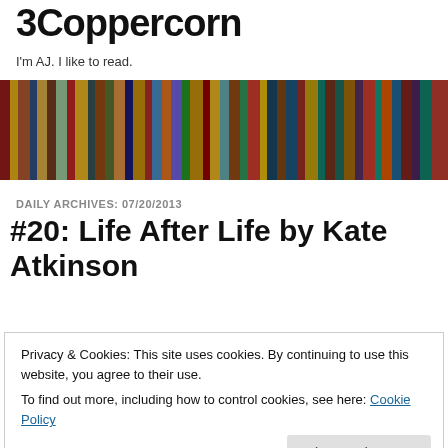3Coppercorn
I'm AJ. I like to read.
[Figure (photo): Banner image of stacked colorful books viewed from the side]
DAILY ARCHIVES: 07/20/2013
#20: Life After Life by Kate Atkinson
Privacy & Cookies: This site uses cookies. By continuing to use this website, you agree to their use.
To find out more, including how to control cookies, see here: Cookie Policy
[Close and accept]